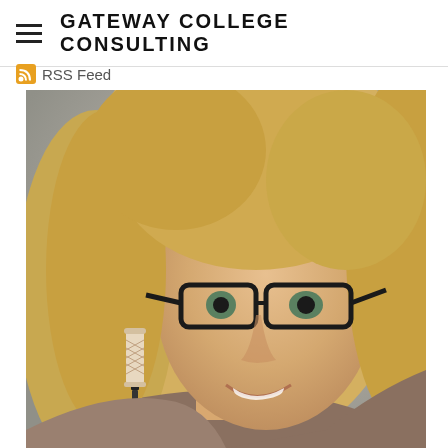GATEWAY COLLEGE CONSULTING
RSS Feed
[Figure (photo): A smiling blonde woman with long hair wearing black-rimmed glasses, photographed in front of a decorative candle holder on a pedestal. The background is neutral gray.]